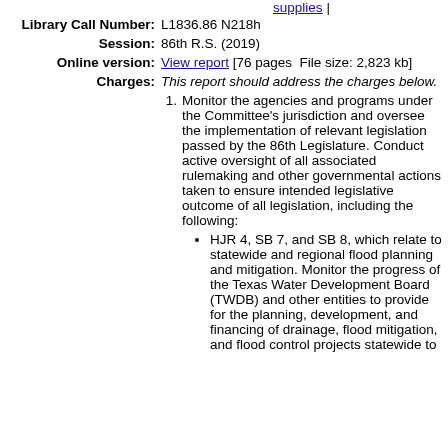supplies |
Library Call Number: L1836.86 N218h
Session: 86th R.S. (2019)
Online version: View report [76 pages  File size: 2,823 kb]
Charges: This report should address the charges below.
1. Monitor the agencies and programs under the Committee's jurisdiction and oversee the implementation of relevant legislation passed by the 86th Legislature. Conduct active oversight of all associated rulemaking and other governmental actions taken to ensure intended legislative outcome of all legislation, including the following:
HJR 4, SB 7, and SB 8, which relate to statewide and regional flood planning and mitigation. Monitor the progress of the Texas Water Development Board (TWDB) and other entities to provide for the planning, development, and financing of drainage, flood mitigation, and flood control projects statewide to